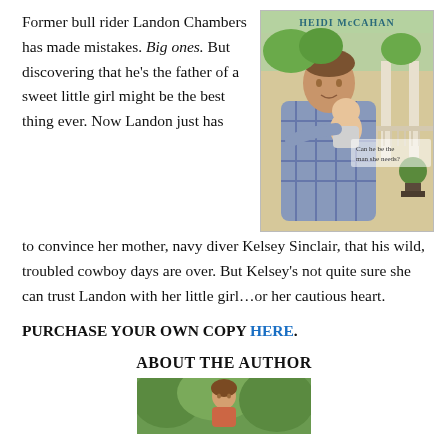Former bull rider Landon Chambers has made mistakes. Big ones. But discovering that he's the father of a sweet little girl might be the best thing ever. Now Landon just has to convince her mother, navy diver Kelsey Sinclair, that his wild, troubled cowboy days are over. But Kelsey's not quite sure she can trust Landon with her little girl…or her cautious heart.
[Figure (photo): Book cover showing a man in a plaid shirt holding a baby on a porch, with text 'HEIDI McCAHAN' at top and 'Can he be the man she needs?' overlaid on the image.]
PURCHASE YOUR OWN COPY HERE.
ABOUT THE AUTHOR
[Figure (photo): Author photo showing a person outdoors with greenery in the background.]